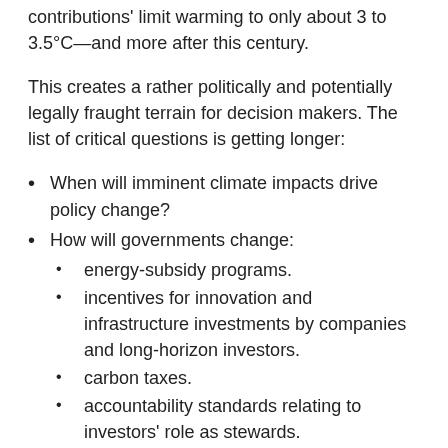contributions' limit warming to only about 3 to 3.5°C—and more after this century.
This creates a rather politically and potentially legally fraught terrain for decision makers. The list of critical questions is getting longer:
When will imminent climate impacts drive policy change?
How will governments change:
energy-subsidy programs.
incentives for innovation and infrastructure investments by companies and long-horizon investors.
carbon taxes.
accountability standards relating to investors' role as stewards.
How quickly will new energy sources come on line